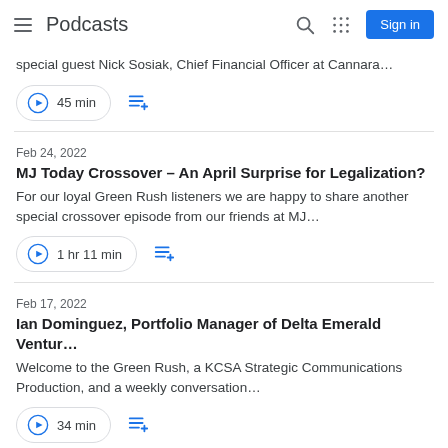Podcasts
special guest Nick Sosiak, Chief Financial Officer at Cannara…
45 min
Feb 24, 2022
MJ Today Crossover – An April Surprise for Legalization?
For our loyal Green Rush listeners we are happy to share another special crossover episode from our friends at MJ…
1 hr 11 min
Feb 17, 2022
Ian Dominguez, Portfolio Manager of Delta Emerald Ventur…
Welcome to the Green Rush, a KCSA Strategic Communications Production, and a weekly conversation…
34 min